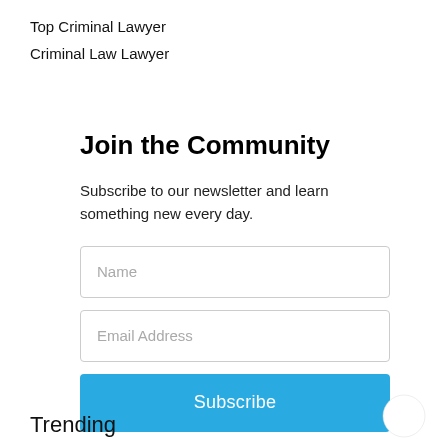Top Criminal Lawyer
Criminal Law Lawyer
Join the Community
Subscribe to our newsletter and learn something new every day.
Name
Email Address
Subscribe
Trending